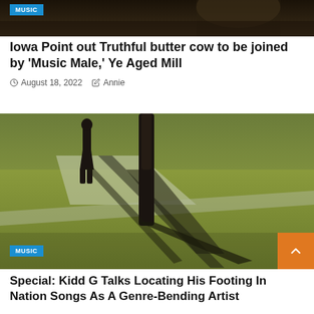[Figure (photo): Dark toned photo of a crowd or outdoor scene with a blue MUSIC badge overlay at top left]
Iowa Point out Truthful butter cow to be joined by 'Music Male,' Ye Aged Mill
August 18, 2022  Annie
[Figure (photo): Outdoor park scene with person walking, tree shadow cast on green grass, with a blue MUSIC badge at bottom left and orange scroll-to-top button at bottom right]
Special: Kidd G Talks Locating His Footing In Nation Songs As A Genre-Bending Artist